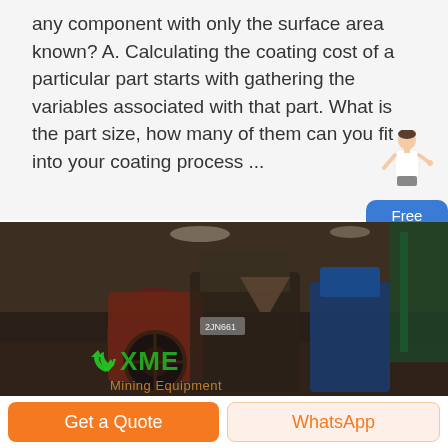any component with only the surface area known? A. Calculating the coating cost of a particular part starts with gathering the variables associated with that part. What is the part size, how many of them can you fit into your coating process ...
[Figure (photo): Industrial machinery in a factory floor with large red and blue equipment, XME Mining Equipment branding visible, dark warehouse setting]
Get a Quote
WhatsApp